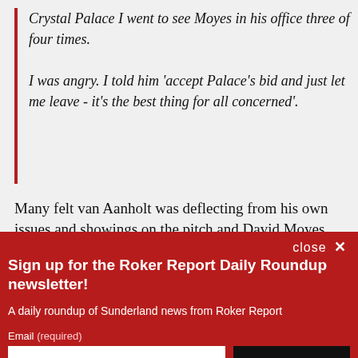Crystal Palace I went to see Moyes in his office three of four times.

I was angry. I told him 'accept Palace's bid and just let me leave - it's the best thing for all concerned'.
Many felt van Aanholt was deflecting from his own issues and showings on the pitch and David Moyes
close ×
Sign up for the Roker Report Daily Roundup newsletter!
A daily roundup of Sunderland news from Roker Report
Email (required)
SUBSCRIBE
By submitting your email, you agree to our Terms and Privacy Notice. You can opt out at any time. This site is protected by reCAPTCHA and the Google Privacy Policy and Terms of Service apply.